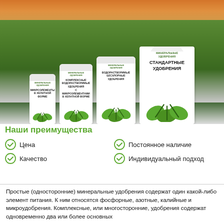[Figure (photo): Agricultural field with green wheat crops under warm sunset sky, with four fertilizer bags in the foreground: small bag (Микроэлементы в хелатной форме), medium bag (Комплексные водорастворимые удобрения с микроэлементами в хелатной форме), large bag (Водорастворимые бесхлорные удобрения), and big-bag (Стандартные удобрения), all branded Минеральные удобрения.]
Наши преимущества
Цена
Качество
Постоянное наличие
Индивидуальный подход
Простые (односторонние) минеральные удобрения содержат один какой-либо элемент питания. К ним относятся фосфорные, азотные, калийные и микроудобрения. Комплексные, или многосторонние, удобрения содержат одновременно два или более основных